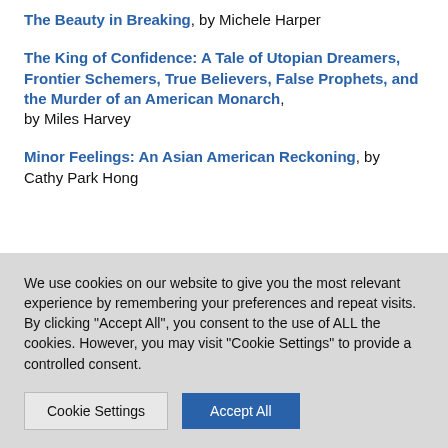The Beauty in Breaking, by Michele Harper
The King of Confidence: A Tale of Utopian Dreamers, Frontier Schemers, True Believers, False Prophets, and the Murder of an American Monarch, by Miles Harvey
Minor Feelings: An Asian American Reckoning, by Cathy Park Hong
We use cookies on our website to give you the most relevant experience by remembering your preferences and repeat visits. By clicking "Accept All", you consent to the use of ALL the cookies. However, you may visit "Cookie Settings" to provide a controlled consent.